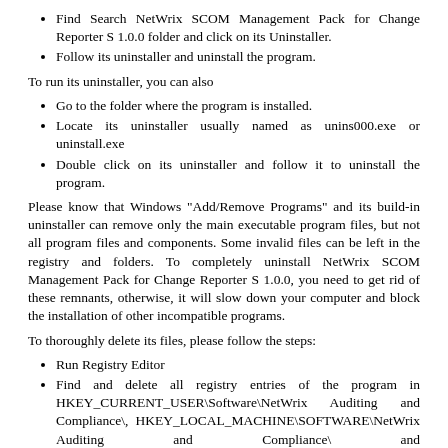Find Search NetWrix SCOM Management Pack for Change Reporter S 1.0.0 folder and click on its Uninstaller.
Follow its uninstaller and uninstall the program.
To run its uninstaller, you can also
Go to the folder where the program is installed.
Locate its uninstaller usually named as unins000.exe or uninstall.exe
Double click on its uninstaller and follow it to uninstall the program.
Please know that Windows "Add/Remove Programs" and its build-in uninstaller can remove only the main executable program files, but not all program files and components. Some invalid files can be left in the registry and folders. To completely uninstall NetWrix SCOM Management Pack for Change Reporter S 1.0.0, you need to get rid of these remnants, otherwise, it will slow down your computer and block the installation of other incompatible programs.
To thoroughly delete its files, please follow the steps:
Run Registry Editor
Find and delete all registry entries of the program in HKEY_CURRENT_USER\Software\NetWrix Auditing and Compliance\, HKEY_LOCAL_MACHINE\SOFTWARE\NetWrix Auditing and Compliance\ and HKEY_LOCAL_MACHINE\Software\Microsoft\Windows\CurrentVersion\